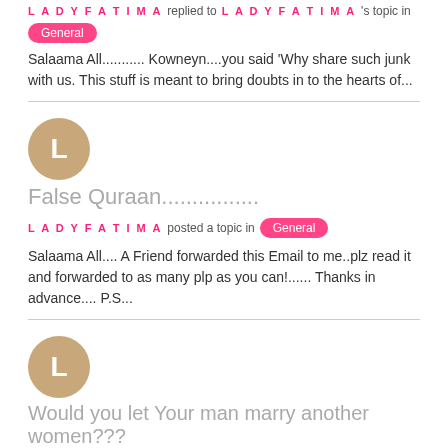LADYFATIMA replied to LADYFATIMA's topic in General
Salaama All........... Kowneyn....you said 'Why share such junk with us. This stuff is meant to bring doubts in to the hearts of...
[Figure (other): Avatar circle with letter L]
False Quraan...............
LADYFATIMA posted a topic in General
Salaama All.... A Friend forwarded this Email to me..plz read it and forwarded to as many plp as you can!...... Thanks in advance.... P.S...
[Figure (other): Avatar circle with letter L]
Would you let Your man marry another women???
LADYFATIMA replied to FUNKYSISTA's topic in General
Salaama All.. I really don't see what the problem is? Another wife?